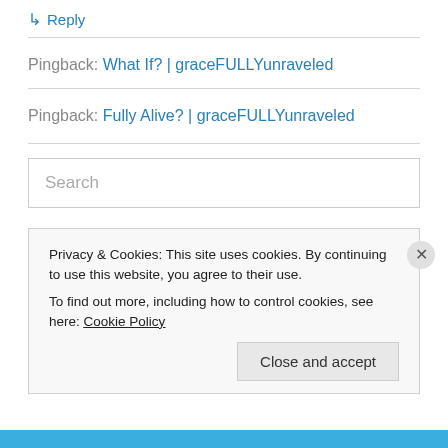↳ Reply
Pingback: What If? | graceFULLYunraveled
Pingback: Fully Alive? | graceFULLYunraveled
Search
Privacy & Cookies: This site uses cookies. By continuing to use this website, you agree to their use.
To find out more, including how to control cookies, see here: Cookie Policy
Close and accept